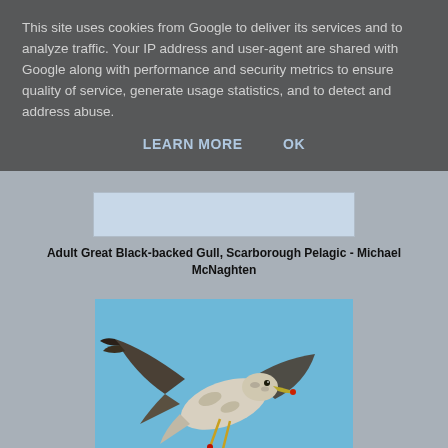This site uses cookies from Google to deliver its services and to analyze traffic. Your IP address and user-agent are shared with Google along with performance and security metrics to ensure quality of service, generate usage statistics, and to detect and address abuse.
LEARN MORE   OK
[Figure (photo): Partially visible photo of an Adult Great Black-backed Gull]
Adult Great Black-backed Gull, Scarborough Pelagic - Michael McNaghten
[Figure (photo): Photo of a Juvenile Great Black-backed Gull in flight against blue sky, Scarborough Pelagic]
Juvenile Great Black-backed Gull, Scarborough Pelagic - Michael